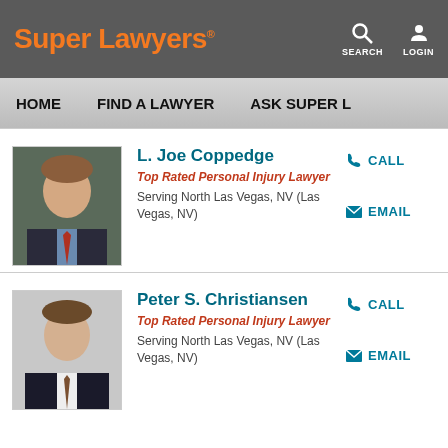Super Lawyers
HOME   FIND A LAWYER   ASK SUPER L...
L. Joe Coppedge
Top Rated Personal Injury Lawyer
Serving North Las Vegas, NV (Las Vegas, NV)
CALL   EMAIL
Peter S. Christiansen
Top Rated Personal Injury Lawyer
Serving North Las Vegas, NV (Las Vegas, NV)
CALL   EMAIL